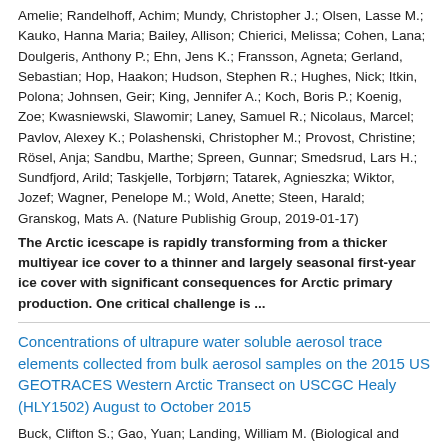Amelie; Randelhoff, Achim; Mundy, Christopher J.; Olsen, Lasse M.; Kauko, Hanna Maria; Bailey, Allison; Chierici, Melissa; Cohen, Lana; Doulgeris, Anthony P.; Ehn, Jens K.; Fransson, Agneta; Gerland, Sebastian; Hop, Haakon; Hudson, Stephen R.; Hughes, Nick; Itkin, Polona; Johnsen, Geir; King, Jennifer A.; Koch, Boris P.; Koenig, Zoe; Kwasniewski, Slawomir; Laney, Samuel R.; Nicolaus, Marcel; Pavlov, Alexey K.; Polashenski, Christopher M.; Provost, Christine; Rösel, Anja; Sandbu, Marthe; Spreen, Gunnar; Smedsrud, Lars H.; Sundfjord, Arild; Taskjelle, Torbjørn; Tatarek, Agnieszka; Wiktor, Jozef; Wagner, Penelope M.; Wold, Anette; Steen, Harald; Granskog, Mats A. (Nature Publishig Group, 2019-01-17)
The Arctic icescape is rapidly transforming from a thicker multiyear ice cover to a thinner and largely seasonal first-year ice cover with significant consequences for Arctic primary production. One critical challenge is ...
Concentrations of ultrapure water soluble aerosol trace elements collected from bulk aerosol samples on the 2015 US GEOTRACES Western Arctic Transect on USCGC Healy (HLY1502) August to October 2015
Buck, Clifton S.; Gao, Yuan; Landing, William M. (Biological and Chemical Oceanography Data Management Office (BCO-DMO). Contact: bco-dmo-data@whoi.edu, 2020-06-10)